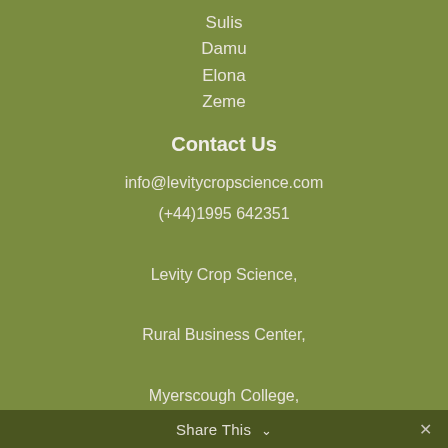Sulis
Damu
Elona
Zeme
Contact Us
info@levitycropscience.com
(+44)1995 642351

Levity Crop Science,

Rural Business Center,

Myerscough College,

Preston,

PR1 0RY
Share This ∨  ✕